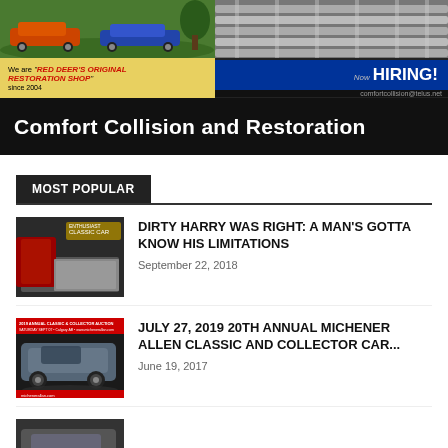[Figure (photo): Comfort Collision and Restoration advertisement banner showing vintage cars, engine, 'Red Deer's Original Restoration Shop since 2004', 'Now Hiring!', comfortcollision@telus.net, with banner title 'Comfort Collision and Restoration']
MOST POPULAR
[Figure (photo): Thumbnail image showing vintage car interior with red and silver details]
DIRTY HARRY WAS RIGHT: A MAN'S GOTTA KNOW HIS LIMITATIONS
September 22, 2018
[Figure (photo): Thumbnail image for 2019 Annual Classic & Collector Auction showing a classic muscle car]
JULY 27, 2019 20th ANNUAL MICHENER ALLEN CLASSIC AND COLLECTOR CAR...
June 19, 2017
[Figure (photo): Partially visible thumbnail at bottom of page]